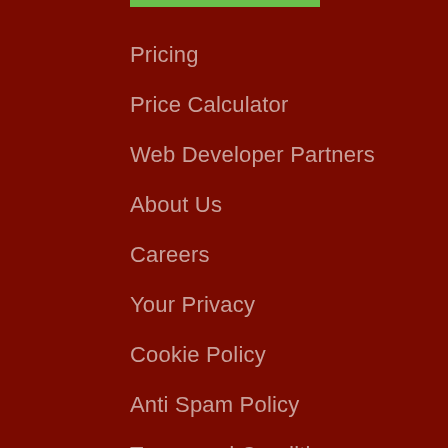Pricing
Price Calculator
Web Developer Partners
About Us
Careers
Your Privacy
Cookie Policy
Anti Spam Policy
Terms and Conditions